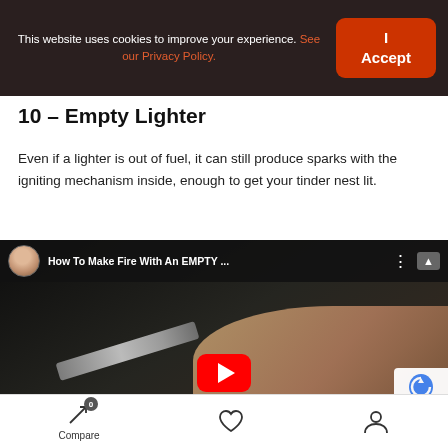This website uses cookies to improve your experience. See our Privacy Policy. | I Accept
10 – Empty Lighter
Even if a lighter is out of fuel, it can still produce sparks with the igniting mechanism inside, enough to get your tinder nest lit.
[Figure (screenshot): YouTube video embed showing 'How To Make Fire With An EMPTY ...' with a thumbnail of a hand holding a lighter, and a red YouTube play button. Channel avatar of a woman with sunglasses visible in top-left of the player.]
Compare (0) | [heart icon] | [user icon]